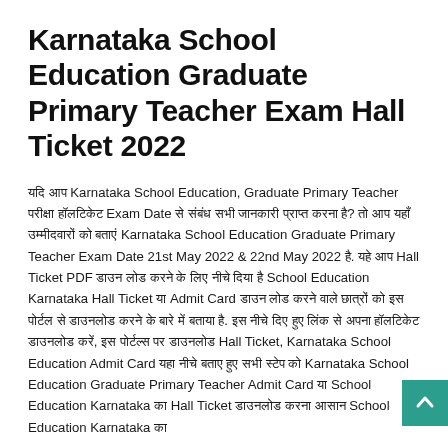Karnataka School Education Graduate Primary Teacher Exam Hall Ticket 2022
यदि आप Karnataka School Education, Graduate Primary Teacher परीक्षा हॉलटिकेट Exam Date से संबंध सभी जानकारी प्राप्त करना है? तो आप यहाँ उम्मीदवारों को बताएं Karnataka School Education Graduate Primary Teacher Exam Date 21st May 2022 & 22nd May 2022 है. यहे आप Hall Ticket PDF डाउन लोड करने के लिए नीचे दिया है School Education Karnataka Hall Ticket या Admit Card डाउन लोड करने वाले छात्रों को इस पोर्टल से डाउनलोड करने के बारे में बताया है. इस नीचे दिए हुए लिंक से अपना हॉलटिकेट डाउनलोड करें, इस पोर्टल्स पर डाउनलोड Hall Ticket, Karnataka School Education Admit Card यहा नीचे बताए हुए सभी स्टेप को Karnataka School Education Graduate Primary Teacher Admit Card या School Education Karnataka का Hall Ticket डाउनलोड करना आसान School Education Karnataka का